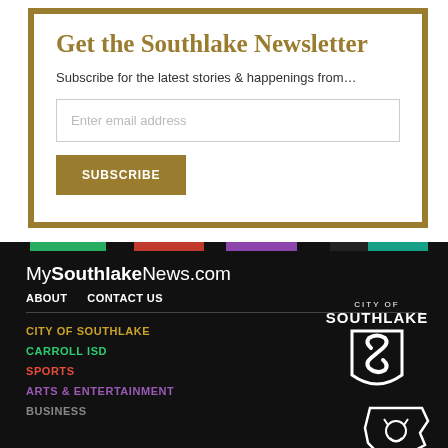Get the Southlake Newsletter
Subscribe for the latest stories & happenings from…
Enter email address
SUBSCRIBE
MySouthlakeNews.com
ABOUT
CONTACT US
CITY OF SOUTHLAKE
CARROLL ISD
SPORTS
ARTS & ENTERTAINMENT
BUSINESS
[Figure (logo): City of Southlake shield logo with stylized S]
[Figure (logo): Carroll ISD dragon logo outline]